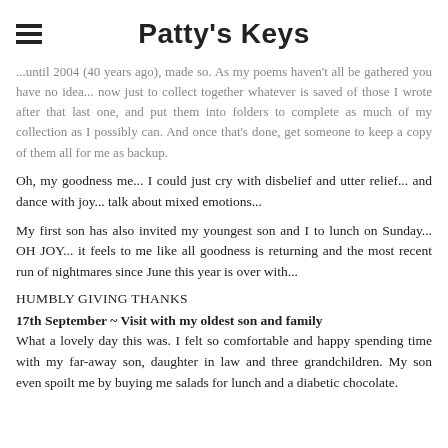Patty's Keys
...until 2004 (40 years ago), made so. As my poems haven't all be gathered you have no idea... now just to collect together whatever is saved of those I wrote after that last one, and put them into folders to complete as much of my collection as I possibly can.  And once that's done, get someone to keep a copy of them all for me as backup.
Oh, my goodness me... I could just cry with disbelief and utter relief... and dance with joy... talk about mixed emotions...
My first son has also invited my youngest son and I to lunch on Sunday... OH JOY... it feels to me like all goodness is returning and the most recent run of nightmares since June this year is over with...
HUMBLY GIVING THANKS
17th September ~ Visit with my oldest son and family
What a lovely day this was.  I felt so comfortable and happy spending time with my far-away son, daughter in law and three grandchildren.  My son even spoilt me by buying me salads for lunch and a diabetic chocolate.